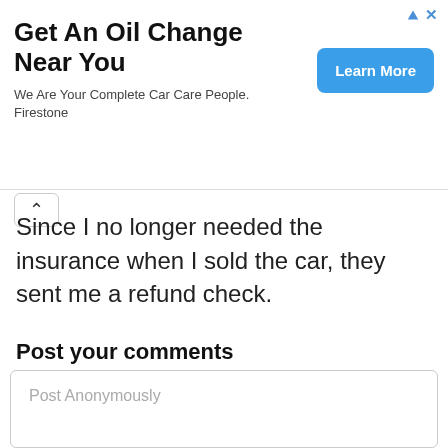[Figure (other): Advertisement banner: 'Get An Oil Change Near You' by Firestone with a 'Learn More' button and ad icons (triangle and X) in the top right corner.]
Since I no longer needed the insurance when I sold the car, they sent me a refund check.
Post your comments
Post Anonymously